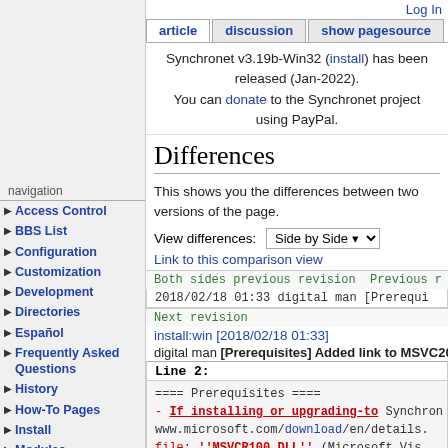Log In
article | discussion | show pagesource
Synchronet v3.19b-Win32 (install) has been released (Jan-2022). You can donate to the Synchronet project using PayPal.
Differences
This shows you the differences between two versions of the page.
View differences: Side by Side ▾
Link to this comparison view
Both sides previous revision Previous r
2018/02/18 01:33 digital man [Prerequi
Next revision
install:win [2018/02/18 01:33]
digital man [Prerequisites] Added link to MSVC2015 red
Line 2:
==== Prerequisites ====
- If installing or upgrading-to Synchron...
www.microsoft.com/download/en/details.
file: ''MSVCR100.DLL'' (Microsoft Vis
navigation
Access Control
BBS List
Configuration
Customization
Development
Directories
Español
Frequently Asked Questions
History
How-To Pages
Install
Modules
Monitoring
Networks